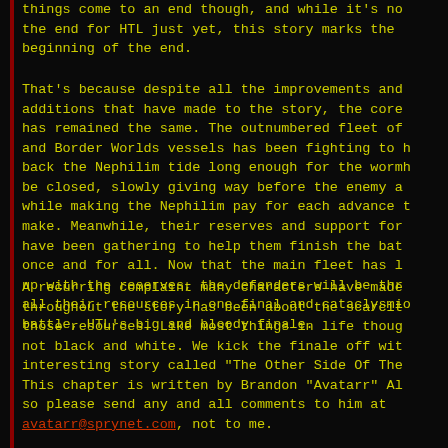things come to an end though, and while it's not the end for HTL just yet, this story marks the beginning of the end.
That's because despite all the improvements and additions that have made to the story, the core has remained the same. The outnumbered fleet of and Border Worlds vessels has been fighting to hold back the Nephilim tide long enough for the wormhole be closed, slowly giving way before the enemy advance while making the Nephilim pay for each advance they make. Meanwhile, their reserves and support forces have been gathering to help them finish the battle once and for all. Now that the main fleet has linked up with the reserves, the defenders will be throwing all their resources in one final and cataclysmic battle, HTL's big and bloody finale.
A recurring complaint many characters have made throughout the story has been about the scarcity of those resources. Like most things in life though, it's not black and white. We kick the finale off with an interesting story called "The Other Side Of The Coin". This chapter is written by Brandon "Avatarr" Alspaugh, so please send any and all comments to him at avatarr@sprynet.com, not to me.